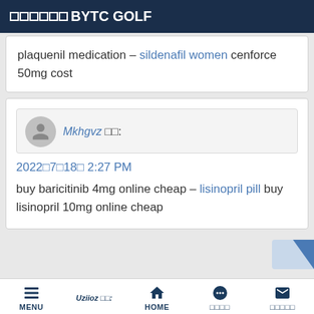□□□□□□BYTC GOLF
plaquenil medication – sildenafil women cenforce 50mg cost
Mkhgvz □□:
2022□7□18□ 2:27 PM
buy baricitinib 4mg online cheap – lisinopril pill buy lisinopril 10mg online cheap
MENU  Uziioz □□:  HOME  □□□□  □□□□□